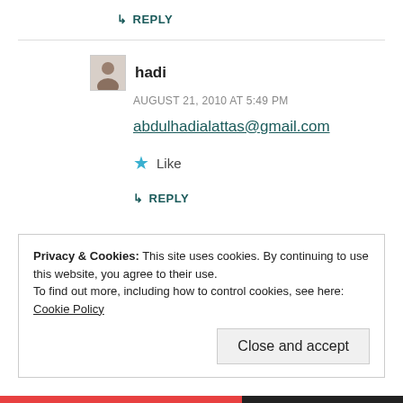↳ REPLY
hadi
AUGUST 21, 2010 AT 5:49 PM
abdulhadialattas@gmail.com
★ Like
↳ REPLY
Privacy & Cookies: This site uses cookies. By continuing to use this website, you agree to their use.
To find out more, including how to control cookies, see here: Cookie Policy
Close and accept